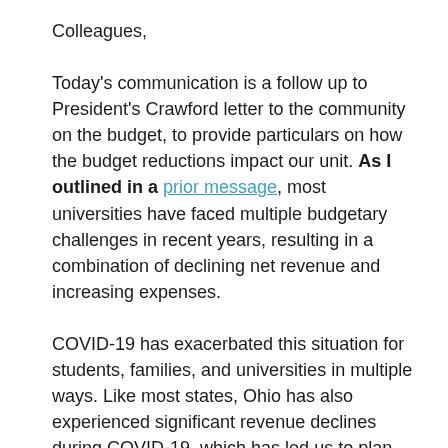Colleagues,
Today's communication is a follow up to President's Crawford letter to the community on the budget, to provide particulars on how the budget reductions impact our unit. As I outlined in a prior message, most universities have faced multiple budgetary challenges in recent years, resulting in a combination of declining net revenue and increasing expenses.
COVID-19 has exacerbated this situation for students, families, and universities in multiple ways. Like most states, Ohio has also experienced significant revenue declines during COVID-19, which has led us to plan for reduced state support for Fiscal Year 2021 (FY21) and possibly beyond. Through multiple efforts, we have successfully addressed our expected revenue declines for the university, which we are currently forecasting to be around $27 million if we are able to have a successful fall semester on campus. This refined projection reflects a smaller anticipated reduction in state support for instruction (SSI) than